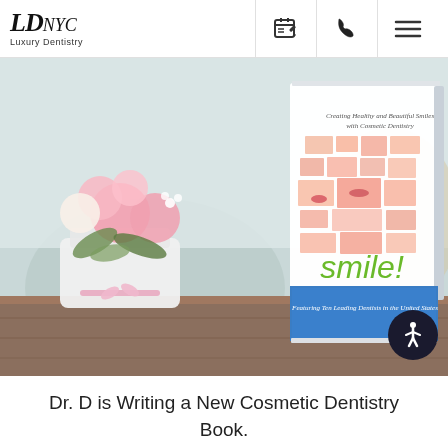[Figure (logo): LD NYC Luxury Dentistry logo with italic serif font]
[Figure (photo): A book titled 'smile! Creating Healthy and Beautiful Smiles with Cosmetic Dentistry — Featuring Ten Leading Dentists in the United States' standing on a wooden table next to a vase of pink roses]
Dr. D is Writing a New Cosmetic Dentistry Book.